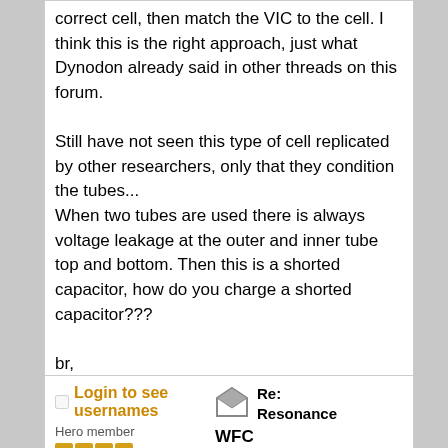correct cell, then match the VIC to the cell. I think this is the right approach, just what Dynodon already said in other threads on this forum.

Still have not seen this type of cell replicated by other researchers, only that they condition the tubes...
When two tubes are used there is always voltage leakage at the outer and inner tube top and bottom. Then this is a shorted capacitor, how do you charge a shorted capacitor???

br,
webmug
Logged
Login to see usernames
Hero member
Re: Resonance
WFC